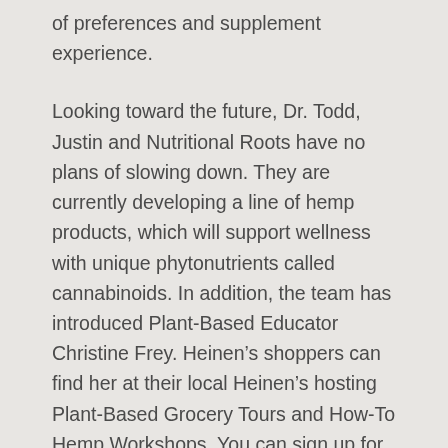of preferences and supplement experience.

Looking toward the future, Dr. Todd, Justin and Nutritional Roots have no plans of slowing down. They are currently developing a line of hemp products, which will support wellness with unique phytonutrients called cannabinoids. In addition, the team has introduced Plant-Based Educator Christine Frey. Heinen’s shoppers can find her at their local Heinen’s hosting Plant-Based Grocery Tours and How-To Hemp Workshops. You can sign up for the events at the Wellness Department. She is certified in plant-based nutrition and provides expert guidance to customers who are unsure of how to eat or what supplements will work for them. Justin also mentioned a continued interest in our partnership, stating, “I started working with